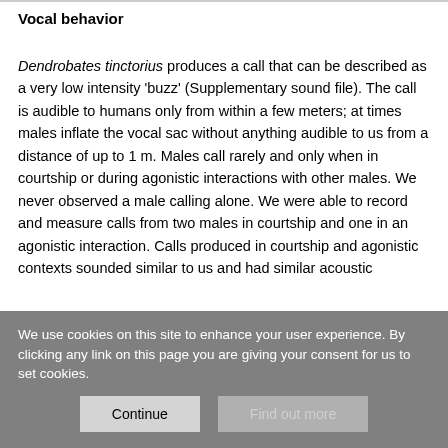Vocal behavior
Dendrobates tinctorius produces a call that can be described as a very low intensity ‘buzz’ (Supplementary sound file). The call is audible to humans only from within a few meters; at times males inflate the vocal sac without anything audible to us from a distance of up to 1 m. Males call rarely and only when in courtship or during agonistic interactions with other males. We never observed a male calling alone. We were able to record and measure calls from two males in courtship and one in an agonistic interaction. Calls produced in courtship and agonistic contexts sounded similar to us and had similar acoustic
We use cookies on this site to enhance your user experience. By clicking any link on this page you are giving your consent for us to set cookies.